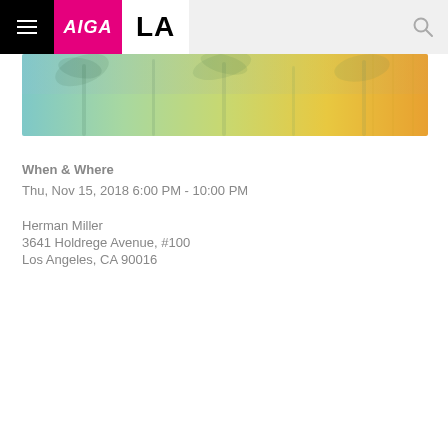AIGA LA
[Figure (illustration): Horizontal banner image with a tropical palm tree scene rendered in a colorful gradient wash going from cool blue-green on the left to warm yellow-orange on the right, with faint palm tree silhouettes and foliage overlaid.]
When & Where
Thu, Nov 15, 2018 6:00 PM - 10:00 PM
Herman Miller
3641 Holdrege Avenue, #100
Los Angeles, CA 90016